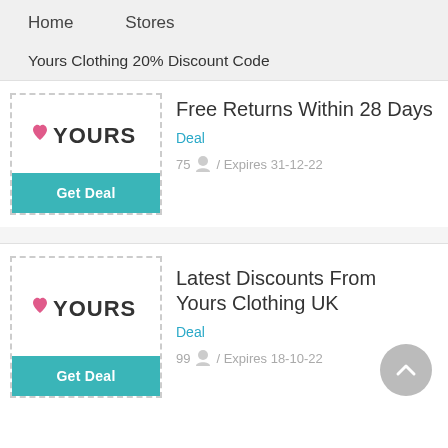Home    Stores
Yours Clothing 20% Discount Code
[Figure (logo): Yours Clothing logo with pink heart and black YOURS text]
Free Returns Within 28 Days
Deal
75 / Expires 31-12-22
[Figure (logo): Yours Clothing logo with pink heart and black YOURS text]
Latest Discounts From Yours Clothing UK
Deal
99 / Expires 18-10-22